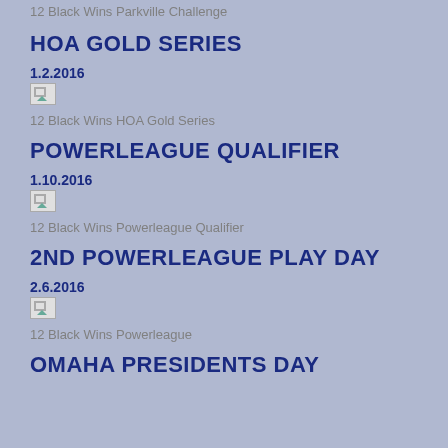12 Black Wins Parkville Challenge
HOA GOLD SERIES
1.2.2016
[Figure (photo): Broken image placeholder]
12 Black Wins HOA Gold Series
POWERLEAGUE QUALIFIER
1.10.2016
[Figure (photo): Broken image placeholder]
12 Black Wins Powerleague Qualifier
2ND POWERLEAGUE PLAY DAY
2.6.2016
[Figure (photo): Broken image placeholder]
12 Black Wins Powerleague
OMAHA PRESIDENTS DAY